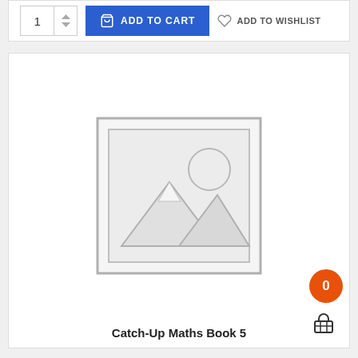[Figure (screenshot): Top bar with quantity selector showing '1', a blue 'ADD TO CART' button with shopping bag icon, and 'ADD TO WISHLIST' text with heart icon]
[Figure (photo): Product card with placeholder image (image not available icon showing mountains and sun sketch), product title 'Catch-Up Maths Book 5', orange cart badge showing '0', and shopping basket icon]
Catch-Up Maths Book 5